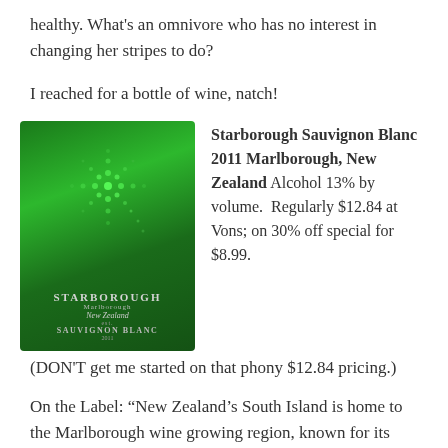healthy. What's an omnivore who has no interest in changing her stripes to do?
I reached for a bottle of wine, natch!
[Figure (photo): Starborough Sauvignon Blanc 2011 wine bottle label — green label with decorative star/snowflake design made of sparkles, brand name STARBOROUGH, Marlborough New Zealand, Sauvignon Blanc 2011]
Starborough Sauvignon Blanc 2011 Marlborough, New Zealand Alcohol 13% by volume. Regularly $12.84 at Vons; on 30% off special for $8.99.
(DON'T get me started on that phony $12.84 pricing.)
On the Label: “New Zealand’s South Island is home to the Marlborough wine growing region, known for its natural beauty and some of the world’s finest